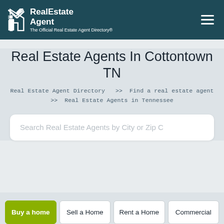RealEstate Agent — The Official Real Estate Agent Directory®
Real Estate Agents In Cottontown TN
Real Estate Agent Directory >> Find a real estate agent >> Real Estate Agents in Tennessee
Search Real Estate Agents by City or Zip C
Buy a home
Sell a Home
Rent a Home
Commercial